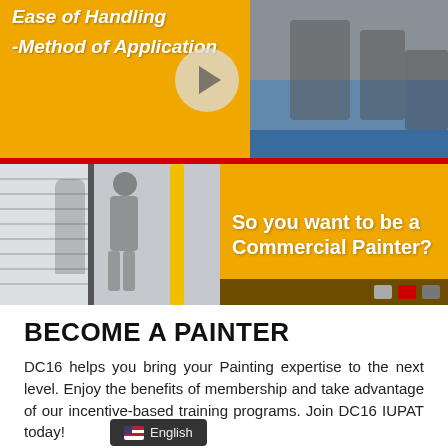[Figure (screenshot): Video thumbnail composite: top-left shows yellow/gold background with white italic bold text 'Ease of Handling' and '-Method of Application'; top-right shows a photo of workers/painters on a job site with equipment. A circular play button overlays the center. A red horizontal divider separates top and bottom sections. Bottom-left shows a photo of a worker painting near a roller door. Bottom-right shows gold/yellow background with bold white text 'So you want to be a Commercial Painter?' YouTube controls appear at bottom right.]
BECOME A PAINTER
DC16 helps you bring your Painting expertise to the next level. Enjoy the benefits of membership and take advantage of our incentive-based training programs. Join DC16 IUPAT today!